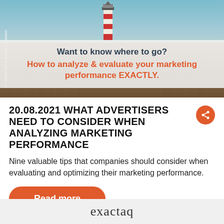[Figure (photo): Lighthouse with red and white stripes in sandy dunes under a cloudy sky, with text overlay reading 'Want to know where to go? How to analyze & evaluate your marketing performance EXACTLY.']
20.08.2021 WHAT ADVERTISERS NEED TO CONSIDER WHEN ANALYZING MARKETING PERFORMANCE
Nine valuable tips that companies should consider when evaluating and optimizing their marketing performance.
Read more
exactaq